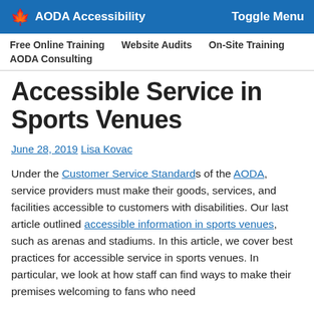AODA Accessibility  Toggle Menu
Free Online Training  Website Audits  On-Site Training  AODA Consulting
Accessible Service in Sports Venues
June 28, 2019 Lisa Kovac
Under the Customer Service Standards of the AODA, service providers must make their goods, services, and facilities accessible to customers with disabilities. Our last article outlined accessible information in sports venues, such as arenas and stadiums. In this article, we cover best practices for accessible service in sports venues. In particular, we look at how staff can find ways to make their premises welcoming to fans who need